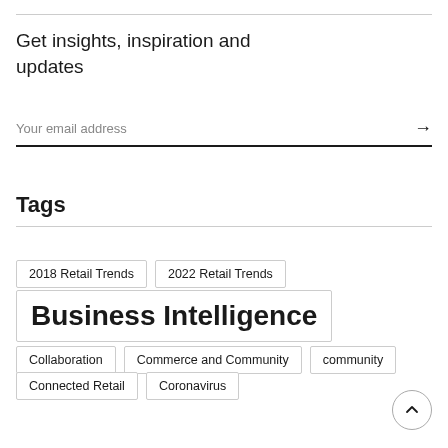Get insights, inspiration and updates
Your email address
Tags
2018 Retail Trends
2022 Retail Trends
Business Intelligence
Collaboration
Commerce and Community
community
Connected Retail
Coronavirus